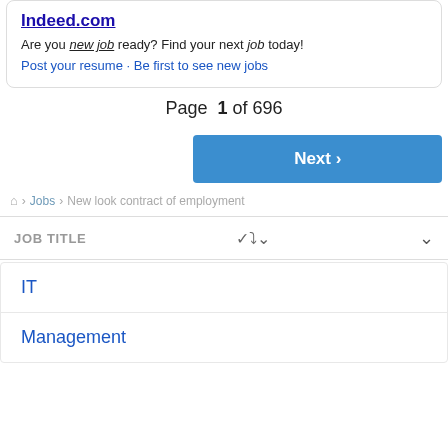Indeed.com
Are you new job ready? Find your next job today!
Post your resume · Be first to see new jobs
Page 1 of 696
Next ›
🏠 › Jobs › New look contract of employment
JOB TITLE
IT
Management